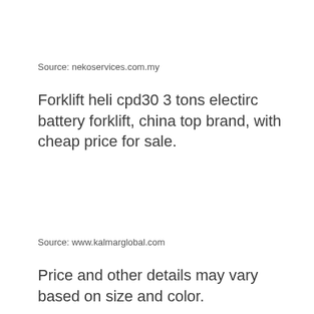Source: nekoservices.com.my
Forklift heli cpd30 3 tons electirc battery forklift, china top brand, with cheap price for sale.
Source: www.kalmarglobal.com
Price and other details may vary based on size and color.